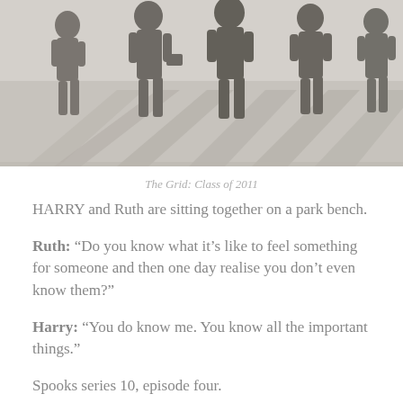[Figure (photo): Silhouettes of several people walking, seen from behind, with long shadows cast on a light-colored ground. The image is in black and white or desaturated.]
The Grid: Class of 2011
HARRY and Ruth are sitting together on a park bench.
Ruth: “Do you know what it’s like to feel something for someone and then one day realise you don’t even know them?”
Harry: “You do know me. You know all the important things.”
Spooks series 10, episode four.
In which we learn battle-weary Sir Harry has so